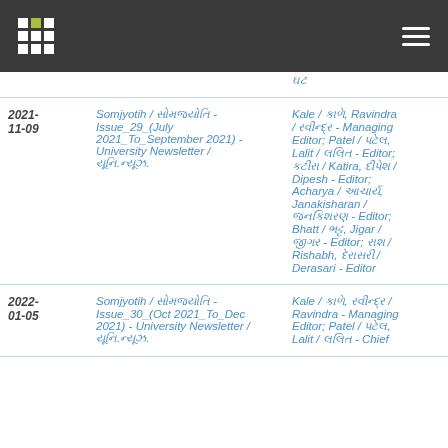Navigation header with logo and menu
| Date | Title | Author |
| --- | --- | --- |
|  |  | ઘટ |
| 2021-11-09 | Somjyotih / સોમજ્યોતિ - Issue_29_(July 2021_To_September 2021) - University Newsletter / યૂનિ.ન્યૂઝ. | Kale / કાળે, Ravindra / રવીન્દ્ર - Managing Editor; Patel / પટેલ, Lalit / લલિત - Editor; કટીરા / Katira, દીપેશ / Dipesh - Editor; Acharya / આચાર્ય, Janakisharan / જનકિશરણ - Editor; Bhatt / ભટ્ટ, Jigar / જીગર - Editor; રાશ / Rishabh, દેરાસરી / Derasari - Editor |
| 2022-01-05 | Somjyotih / સોમજ્યોતિ - Issue_30_(Oct 2021_To_Dec 2021) - University Newsletter / યૂનિ.ન્યૂઝ. | Kale / કાળે, રવીન્દ્ર / Ravindra - Managing Editor; Patel / પટેલ, Lalit / લલિત - Chief |